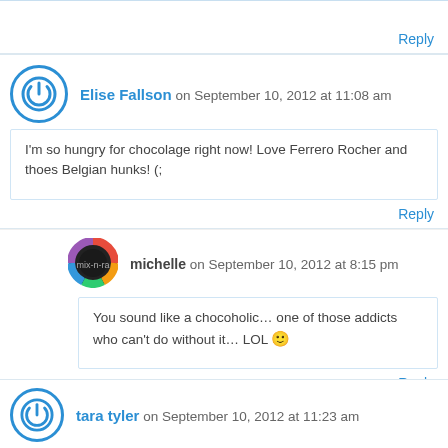Reply
Elise Fallson on September 10, 2012 at 11:08 am
I'm so hungry for chocolage right now! Love Ferrero Rocher and thoes Belgian hunks! (;
Reply
michelle on September 10, 2012 at 8:15 pm
You sound like a chocoholic… one of those addicts who can't do without it… LOL 🙂
Reply
tara tyler on September 10, 2012 at 11:23 am